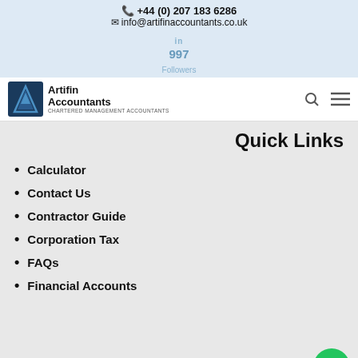+44 (0) 207 183 6286
info@artificfinaccountants.co.uk
997 Followers
[Figure (logo): Artifin Accountants logo with blue geometric A icon and text 'Artifin Accountants - Chartered Management Accountants']
Quick Links
Calculator
Contact Us
Contractor Guide
Corporation Tax
FAQs
Financial Accounts
Share This